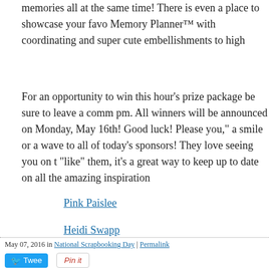memories all at the same time! There is even a place to showcase your favo Memory Planner™ with coordinating and super cute embellishments to high
For an opportunity to win this hour's prize package be sure to leave a comm pm. All winners will be announced on Monday, May 16th! Good luck! Please you," a smile or a wave to all of today's sponsors! They love seeing you on t "like" them, it's a great way to keep up to date on all the amazing inspiration
Pink Paislee
Heidi Swapp
Good luck everyone! Be sure to join us in an hour when Sheri Reguly stops website for more ways to win a $100 mystery box HERE!
May 07, 2016 in National Scrapbooking Day | Permalink
Comments